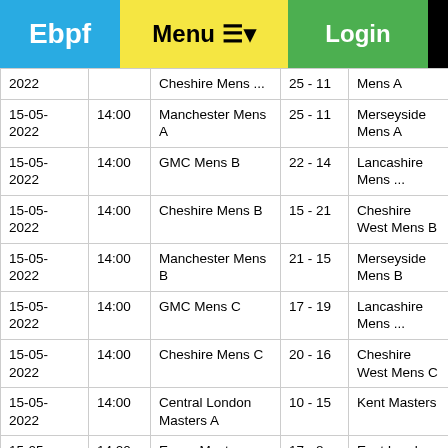Ebpf  Menu ☰▾  Login
| 2022 |  | Cheshire Mens ... | 25 - 11 | Mens A |
| 15-05-2022 | 14:00 | Manchester Mens A | 25 - 11 | Merseyside Mens A |
| 15-05-2022 | 14:00 | GMC Mens B | 22 - 14 | Lancashire Mens ... |
| 15-05-2022 | 14:00 | Cheshire Mens B | 15 - 21 | Cheshire West Mens B |
| 15-05-2022 | 14:00 | Manchester Mens B | 21 - 15 | Merseyside Mens B |
| 15-05-2022 | 14:00 | GMC Mens C | 17 - 19 | Lancashire Mens ... |
| 15-05-2022 | 14:00 | Cheshire Mens C | 20 - 16 | Cheshire West Mens C |
| 15-05-2022 | 14:00 | Central London Masters A | 10 - 15 | Kent Masters |
| 15-05-2022 | 14:00 | Essex Masters | 17 - 8 | East London Masters |